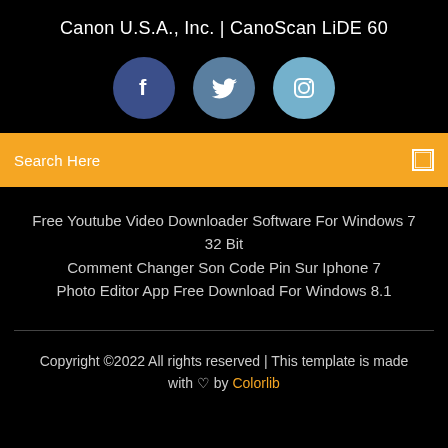Canon U.S.A., Inc. | CanoScan LiDE 60
[Figure (infographic): Three social media icons: Facebook (dark blue circle with 'f'), Twitter (medium blue circle with bird icon), Instagram (light blue circle with camera icon)]
Search Here
Free Youtube Video Downloader Software For Windows 7 32 Bit
Comment Changer Son Code Pin Sur Iphone 7
Photo Editor App Free Download For Windows 8.1
Copyright ©2022 All rights reserved | This template is made with ♡ by Colorlib